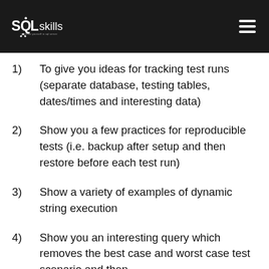SQLskills
1) To give you ideas for tracking test runs (separate database, testing tables, dates/times and interesting data)
2) Show you a few practices for reproducible tests (i.e. backup after setup and then restore before each test run)
3) Show a variety of examples of dynamic string execution
4) Show you an interesting query which removes the best case and worst case test scenario and then